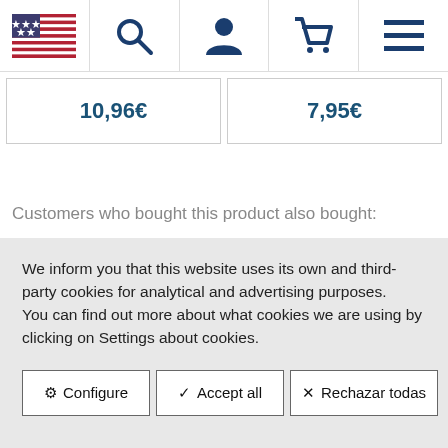Navigation bar with US flag, search, user, cart, menu icons
[Figure (screenshot): Partial product price cards showing truncated prices in blue text]
Customers who bought this product also bought:
We inform you that this website uses its own and third-party cookies for analytical and advertising purposes. You can find out more about what cookies we are using by clicking on Settings about cookies.
Configure
Accept all
Rechazar todas